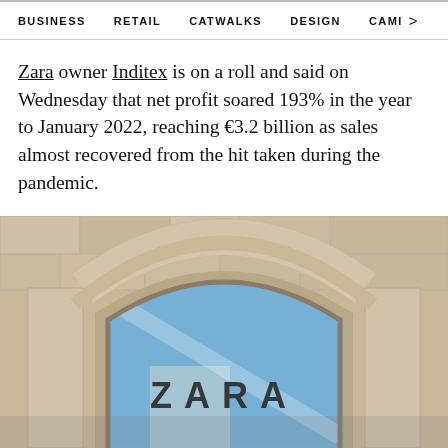BUSINESS   RETAIL   CATWALKS   DESIGN   CAMI >
Zara owner Inditex is on a roll and said on Wednesday that net profit soared 193% in the year to January 2022, reaching €3.2 billion as sales almost recovered from the hit taken during the pandemic.
[Figure (photo): Exterior photo of a Zara store showing the ZARA signage behind a large arched glass window framed by ornate stone masonry. The blue sky is reflected in the glass.]